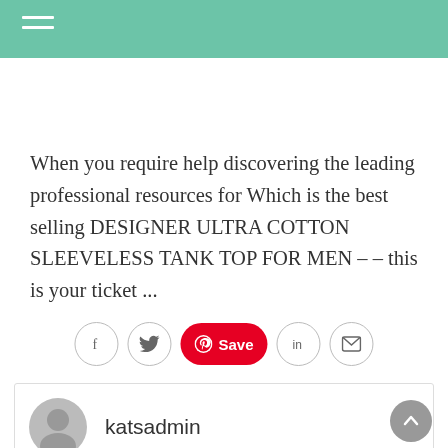the style you'd like to achieve.
When you require help discovering the leading professional resources for Which is the best selling DESIGNER ULTRA COTTON SLEEVELESS TANK TOP FOR MEN – – this is your ticket ...
[Figure (infographic): Social share buttons: Facebook, Twitter, Pinterest Save, LinkedIn, Email]
katsadmin